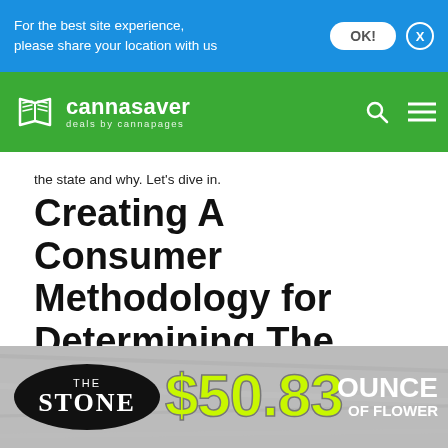For the best site experience, please share your location with us
[Figure (logo): Cannasaver logo — book icon with text 'cannasaver deals by cannapages' on green navigation header with search and menu icons]
the state and why. Let’s dive in.
Creating A Consumer Methodology for Determining The Price Of Weed in Colorado
[Figure (infographic): Advertisement banner for The Stone dispensary showing '$50.83 OUNCE OF FLOWER' in yellow/lime text on a grey background with The Stone oval logo on the left]